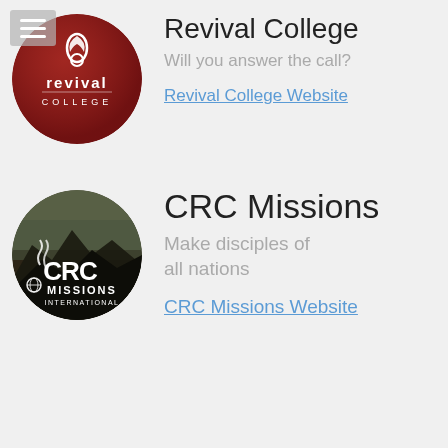[Figure (logo): Revival College circular logo with red background and white flame/college icon with text 'revival COLLEGE']
Revival College
Will you answer the call?
Revival College Website
[Figure (logo): CRC Missions International circular logo with landscape mountains background and white CRC Missions International text/icon]
CRC Missions
Make disciples of all nations
CRC Missions Website